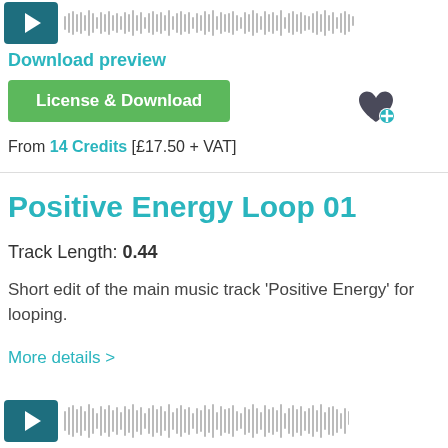[Figure (screenshot): Audio player with play button and waveform at top]
Download preview
[Figure (screenshot): License & Download green button]
[Figure (illustration): Heart with plus icon (add to favorites)]
From 14 Credits [£17.50 + VAT]
Positive Energy Loop 01
Track Length: 0.44
Short edit of the main music track 'Positive Energy' for looping.
More details >
[Figure (screenshot): Audio player with play button and waveform at bottom]